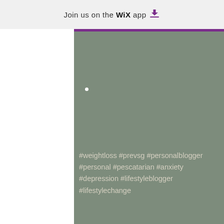Join us on the WiX app
#weightloss #prevsg #personalblogger #personal #pescatarian #anxiety #depression #lifestyleblogger #lifestylechange
Me
[Figure (infographic): Social share icons: Facebook, Twitter, LinkedIn, and link/chain icon]
Recent Posts
See